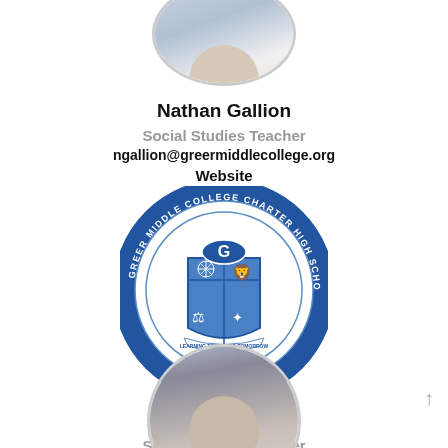[Figure (photo): Partial circular photo of Nathan Gallion at the top of the page, cropped]
Nathan Gallion
Social Studies Teacher
ngallion@greermiddlecollege.org
Website
[Figure (logo): Greer Middle College Charter High School circular seal/logo with shield emblem]
Brendan LaPoe
Social Studies Teacher
blapoe@greermiddlecollege.org
Website
[Figure (photo): Partial circular photo of a woman at the bottom, partially cropped]